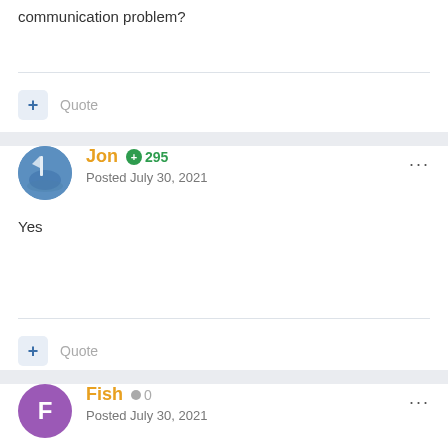communication problem?
+ Quote
Jon  +295
Posted July 30, 2021
Yes
+ Quote
Fish  0
Posted July 30, 2021